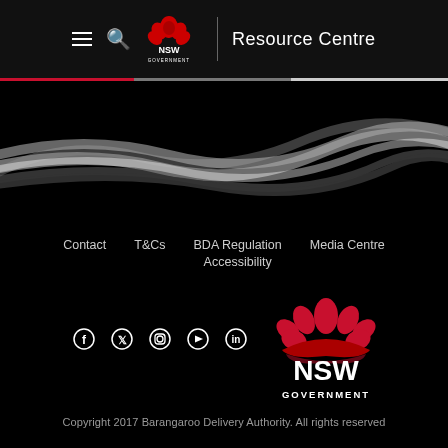NSW Government Resource Centre
[Figure (screenshot): NSW Government website header with hamburger menu icon, search icon, NSW Government logo, divider, and 'Resource Centre' text on black background]
[Figure (illustration): Decorative wave/ribbon graphic in grey and white on black background]
Contact   T&Cs   BDA Regulation   Media Centre   Accessibility
[Figure (logo): NSW Government logo - red waratah flower with NSW GOVERNMENT text below in white on black background]
f  Twitter  Instagram  YouTube  in
Copyright 2017 Barangaroo Delivery Authority. All rights reserved